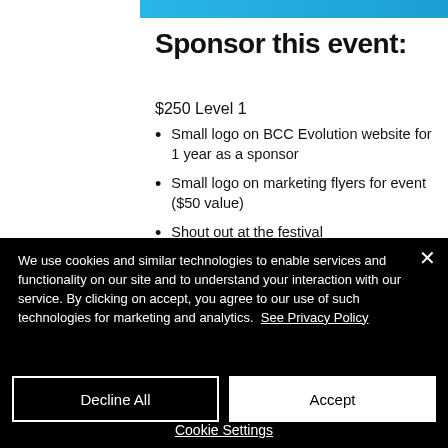Sponsor this event:
$250 Level 1
Small logo on BCC Evolution website for 1 year as a sponsor
Small logo on marketing flyers for event ($50 value)
Shout out at the festival
We use cookies and similar technologies to enable services and functionality on our site and to understand your interaction with our service. By clicking on accept, you agree to our use of such technologies for marketing and analytics.  See Privacy Policy